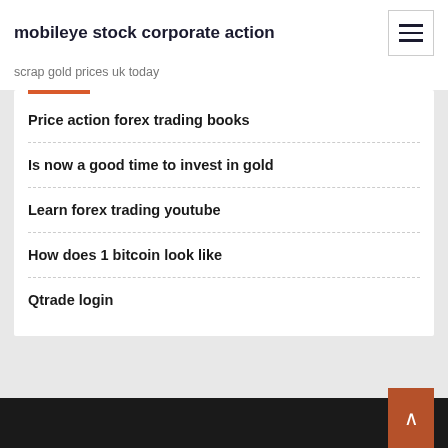mobileye stock corporate action
scrap gold prices uk today
Price action forex trading books
Is now a good time to invest in gold
Learn forex trading youtube
How does 1 bitcoin look like
Qtrade login